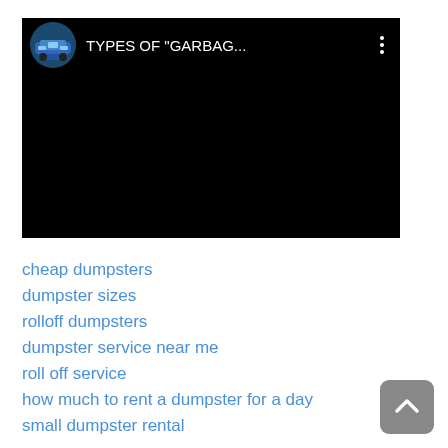[Figure (screenshot): Video thumbnail/player showing a dark/black screen with a channel icon (garbage truck image in circular frame) and title text 'TYPES OF "GARBAG...' on black background, with three-dot menu icon]
cheap dumpsters
dumpster sizes
rolloff dumpsters
dumpster service near me
roll off service
how much to rent a dumpster for a day
small dumpster rental
small dumpsters
waste bins rental